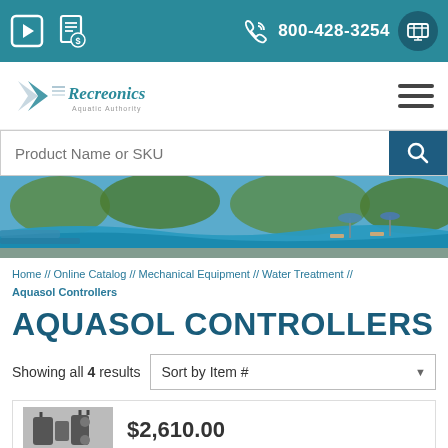800-428-3254
[Figure (logo): Recreonics Aquatic Authority logo]
[Figure (photo): Outdoor swimming pool with blue water, lounge chairs, and trees in background]
Home // Online Catalog // Mechanical Equipment // Water Treatment // Aquasol Controllers
AQUASOL CONTROLLERS
Showing all 4 results
$2,610.00